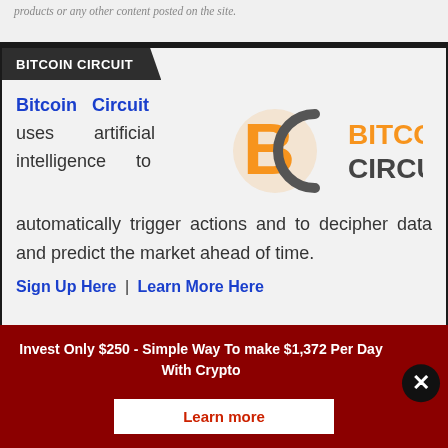products or any other content posted on the site.
BITCOIN CIRCUIT
Bitcoin Circuit uses artificial intelligence to automatically trigger actions and to decipher data and predict the market ahead of time.
[Figure (logo): Bitcoin Circuit logo: orange B and grey C symbol with 'BITCOIN CIRCUIT' text in orange and grey]
Sign Up Here | Learn More Here
Invest Only $250 - Simple Way To make $1,372 Per Day With Crypto
Learn more